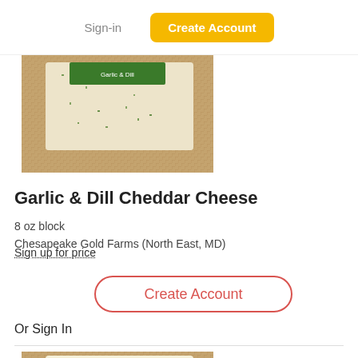Sign-in | Create Account
[Figure (photo): Photo of Garlic & Dill Cheddar Cheese block on burlap background, partially shown from top]
Garlic & Dill Cheddar Cheese
8 oz block
Chesapeake Gold Farms (North East, MD)
Sign up for price
Create Account
Or Sign In
[Figure (photo): Photo of a pale yellow cheese block on burlap background, partially shown from bottom]